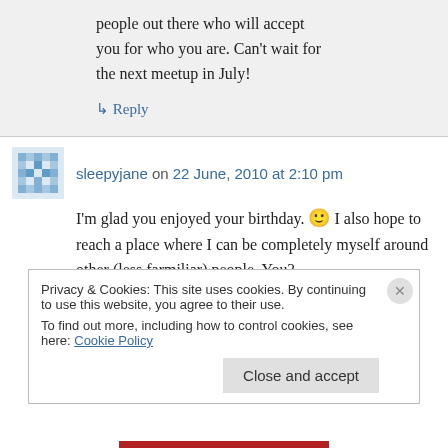people out there who will accept you for who you are. Can't wait for the next meetup in July!
↳ Reply
sleepyjane on 22 June, 2010 at 2:10 pm
I'm glad you enjoyed your birthday. 🙂 I also hope to reach a place where I can be completely myself around other (less farmiliar) people. You?
Privacy & Cookies: This site uses cookies. By continuing to use this website, you agree to their use. To find out more, including how to control cookies, see here: Cookie Policy
Close and accept